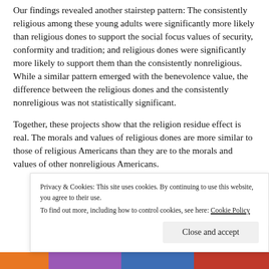Our findings revealed another stairstep pattern: The consistently religious among these young adults were significantly more likely than religious dones to support the social focus values of security, conformity and tradition; and religious dones were significantly more likely to support them than the consistently nonreligious. While a similar pattern emerged with the benevolence value, the difference between the religious dones and the consistently nonreligious was not statistically significant.
Together, these projects show that the religion residue effect is real. The morals and values of religious dones are more similar to those of religious Americans than they are to the morals and values of other nonreligious Americans.
Privacy & Cookies: This site uses cookies. By continuing to use this website, you agree to their use. To find out more, including how to control cookies, see here: Cookie Policy